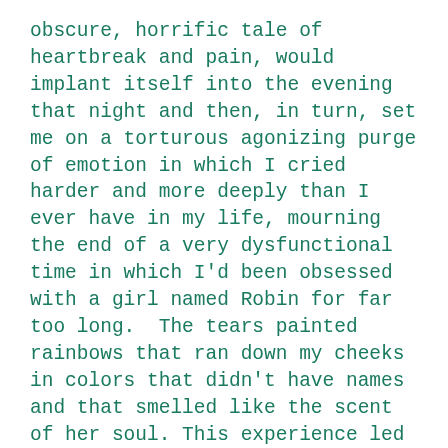obscure, horrific tale of heartbreak and pain, would implant itself into the evening that night and then, in turn, set me on a torturous agonizing purge of emotion in which I cried harder and more deeply than I ever have in my life, mourning the end of a very dysfunctional time in which I'd been obsessed with a girl named Robin for far too long.  The tears painted rainbows that ran down my cheeks in colors that didn't have names and that smelled like the scent of her soul. This experience led to me finally let go and then to write a series of songs in her name, one of which I'm very proud of. I never saw her again.
He didn't care for me at all I don't think.  And although I was aware that he was merely seeing